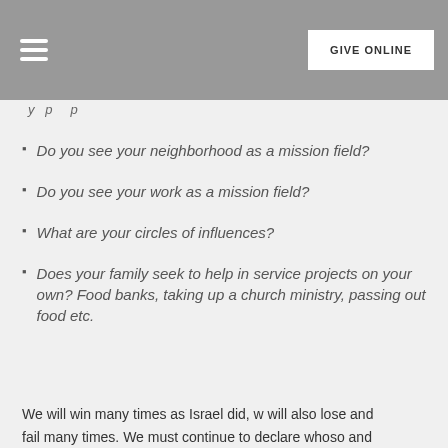GIVE ONLINE
y p p
Do you see your neighborhood as a mission field?
Do you see your work as a mission field?
What are your circles of influences?
Does your family seek to help in service projects on your own? Food banks, taking up a church ministry, passing out food etc.
We will win many times as Israel did, w will also lose and fail many times. We must continue to declare whoso and